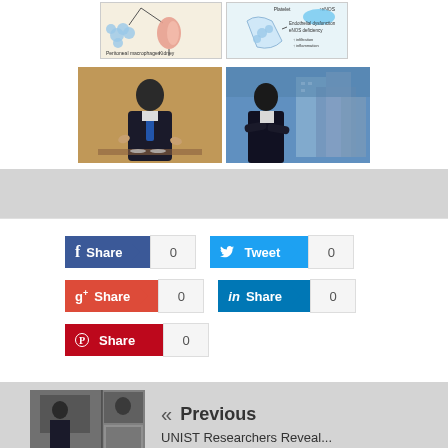[Figure (illustration): Two scientific diagrams: left shows peritoneal macrophages and kidney pathway; right shows endothelial dysfunction with eNOS deficiency, infiltration and inflammation]
[Figure (photo): Two photographs of researchers/scientists in professional settings]
Share 0
Tweet 0
Share 0
Share 0
Share 0
« Previous
UNIST Researchers Reveal...
[Figure (photo): Thumbnail image of researcher]